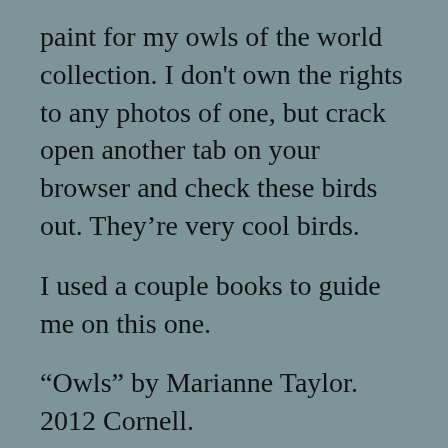paint for my owls of the world collection. I don't own the rights to any photos of one, but crack open another tab on your browser and check these birds out. They’re very cool birds.
I used a couple books to guide me on this one.
“Owls” by Marianne Taylor. 2012 Cornell.
“Owls of the World” by Dr. James R. Duncan. 2003 Firefly Books.
You don’t see a lot of Boobook Owls here in Oakland. In fact most owls here are plastic and intended to strike fear in the